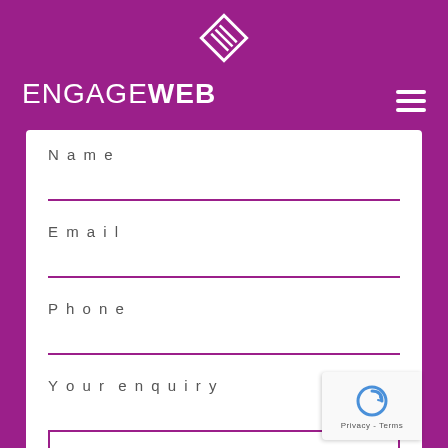[Figure (logo): EngageWeb logo: diamond-shaped icon with stacked layers in white, above the text ENGAGEWEB on a purple background with hamburger menu icon]
Name
Email
Phone
Your enquiry